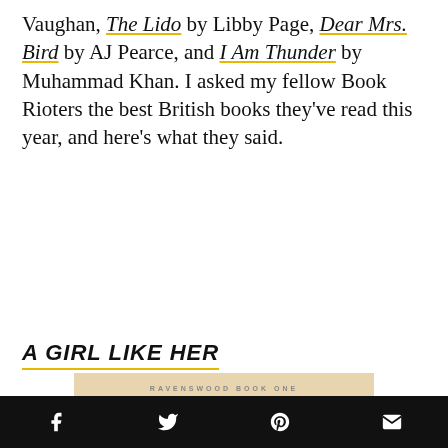Vaughan, The Lido by Libby Page, Dear Mrs. Bird by AJ Pearce, and I Am Thunder by Muhammad Khan. I asked my fellow Book Rioters the best British books they've read this year, and here's what they said.
A GIRL LIKE HER
[Figure (photo): Book cover of 'A Girl Like Her' (Ravenswood Book One) showing two people in a close embrace, with pink cursive title text at the bottom.]
Social share icons: Facebook, Twitter, Pinterest, Email